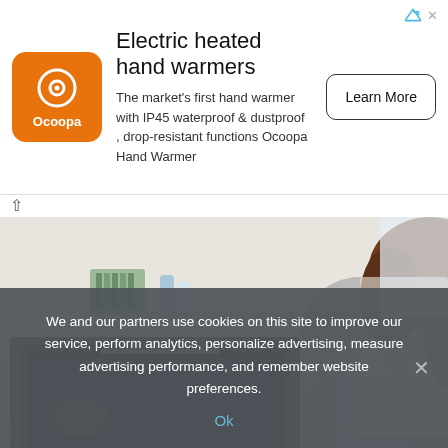[Figure (infographic): Advertisement banner for Ocoopa Electric heated hand warmers with orange logo, product description, and Learn More button]
[Figure (photo): Woman smiling and looking into an open oven in a bright kitchen, wearing an apron]
We and our partners use cookies on this site to improve our service, perform analytics, personalize advertising, measure advertising performance, and remember website preferences.
Ok